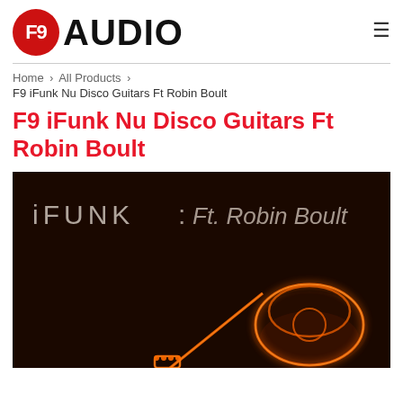F9 AUDIO
Home › All Products › F9 iFunk Nu Disco Guitars Ft Robin Boult
F9 iFunk Nu Disco Guitars Ft Robin Boult
[Figure (photo): Dark background product image showing neon guitar outline in orange with text 'iFUNK : Ft. Robin Boult']